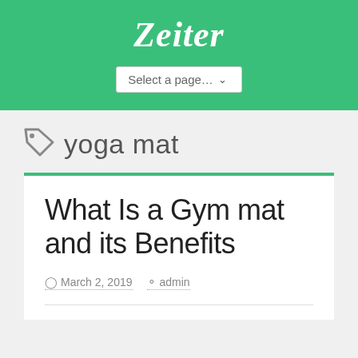Zeiter
Select a page…
yoga mat
What Is a Gym mat and its Benefits
March 2, 2019   admin